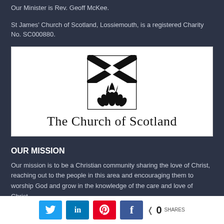Our Minister is Rev. Geoff McKee.
St James' Church of Scotland, Lossiemouth, is a registered Charity No. SC000880.
[Figure (logo): The Church of Scotland logo — a black and white emblem featuring a St Andrew's cross (Saltire) at the top and a burning bush below, with the text 'The Church of Scotland' in serif font beneath the emblem.]
OUR MISSION
Our mission is to be a Christian community sharing the love of Christ, reaching out to the people in this area and encouraging them to worship God and grow in the knowledge of the care and love of Christ.
Social share buttons: Twitter, LinkedIn, Pinterest, Facebook — 0 SHARES